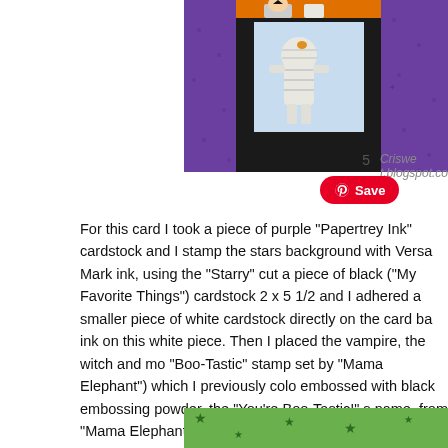[Figure (photo): Halloween craft card featuring purple and black cardstock with a mummy character in a window, green star-patterned background]
For this card I took a piece of purple "Papertrey Ink" cardstock and I stamp the stars background with Versa Mark ink, using the "Starry" cut a piece of black ("My Favorite Things") cardstock 2 x 5 1/2 and I adhered a smaller piece of white cardstock directly on the card ba ink on this white piece. Then I placed the vampire, the witch and mo "Boo-Tastic" stamp set by "Mama Elephant") which I previously colo embossed with black embossing powder, the "You're Boo-Tastic!" s name, from "Mama Elephant" on orange cardstock Finally I stampe foam adhesive, and trace a white dash line for the spider to hang o
[Figure (photo): Bottom portion of a Halloween card with green star-patterned background, partially visible]